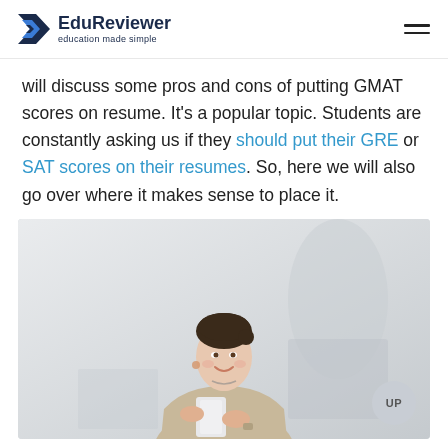EduReviewer — education made simple
will discuss some pros and cons of putting GMAT scores on resume. It's a popular topic. Students are constantly asking us if they should put their GRE or SAT scores on their resumes. So, here we will also go over where it makes sense to place it.
[Figure (photo): A smiling young professional woman in a beige blazer holding a white tablet/notebook, standing in a bright office environment]